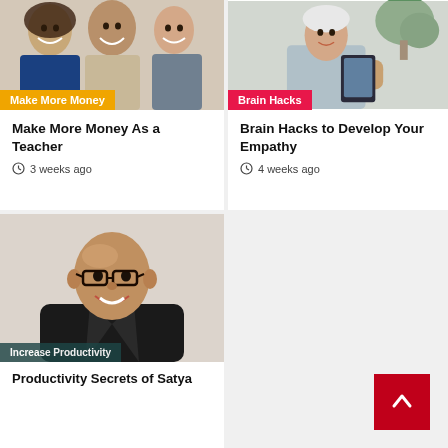[Figure (photo): Group of smiling people, two women and a man]
Make More Money
Make More Money As a Teacher
3 weeks ago
[Figure (photo): Elderly person holding hands with a caregiver, plant in background]
Brain Hacks
Brain Hacks to Develop Your Empathy
4 weeks ago
[Figure (photo): Bald man with glasses smiling, wearing black suit]
Increase Productivity
Productivity Secrets of Satya